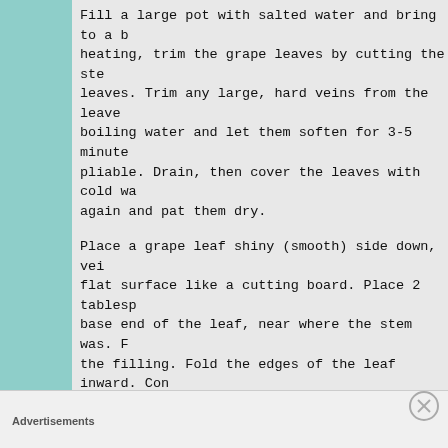Fill a large pot with salted water and bring to a b heating, trim the grape leaves by cutting the ste leaves. Trim any large, hard veins from the leave boiling water and let them soften for 3-5 minute pliable. Drain, then cover the leaves with cold wa again and pat them dry.
Place a grape leaf shiny (smooth) side down, vei flat surface like a cutting board. Place 2 tablesp base end of the leaf, near where the stem was. F the filling. Fold the edges of the leaf inward. Con it forms a neat rolled package. Squeeze the roll
Repeat the process with the remaining leaves u is used.
Advertisements